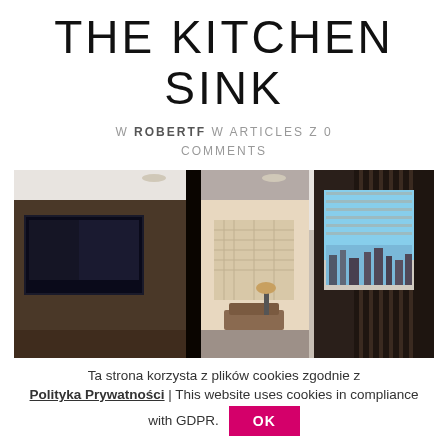THE KITCHEN SINK
W ROBERTF W ARTICLES Z 0 COMMENTS
[Figure (photo): Interior photo of a modern luxury kitchen/living space with dark wood panels, glass doors, white ceiling, wall-mounted TV on the left, and a large window with a city view on the right.]
Ta strona korzysta z plików cookies zgodnie z
Polityka Prywatności | This website uses cookies in compliance with GDPR.
OK